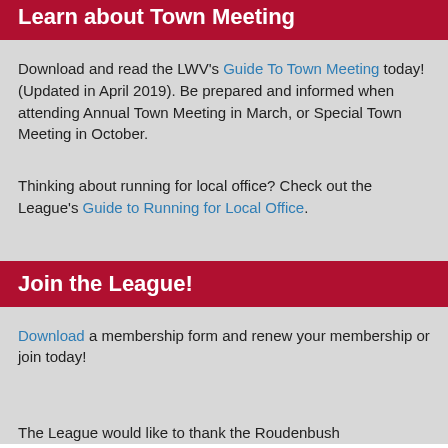Learn about Town Meeting
Download and read the LWV's Guide To Town Meeting today! (Updated in April 2019). Be prepared and informed when attending Annual Town Meeting in March, or Special Town Meeting in October.
Thinking about running for local office? Check out the League's Guide to Running for Local Office.
Join the League!
Download a membership form and renew your membership or join today!
The League would like to thank the Roudenbush